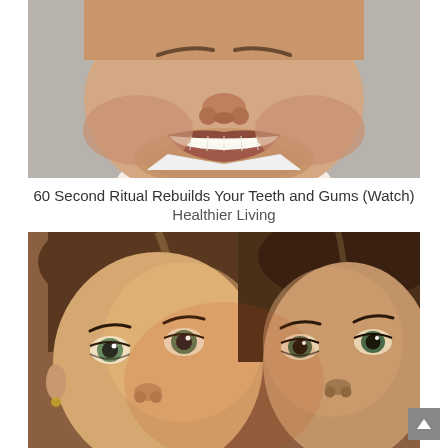[Figure (photo): Close-up photo of a man's face showing a wide smile with very white teeth, from nose to chin, light background]
60 Second Ritual Rebuilds Your Teeth and Gums (Watch)
Healthier Living
[Figure (photo): Close-up photo of two young girls with brown hair and light eyes, faces close together, looking at camera]